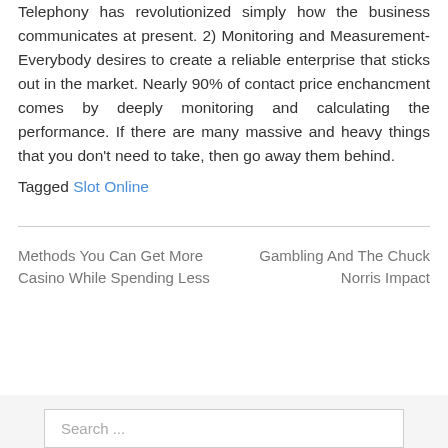Telephony has revolutionized simply how the business communicates at present. 2) Monitoring and Measurement- Everybody desires to create a reliable enterprise that sticks out in the market. Nearly 90% of contact price enchancment comes by deeply monitoring and calculating the performance. If there are many massive and heavy things that you don't need to take, then go away them behind.
Tagged Slot Online
Methods You Can Get More Casino While Spending Less
Gambling And The Chuck Norris Impact
Search ...